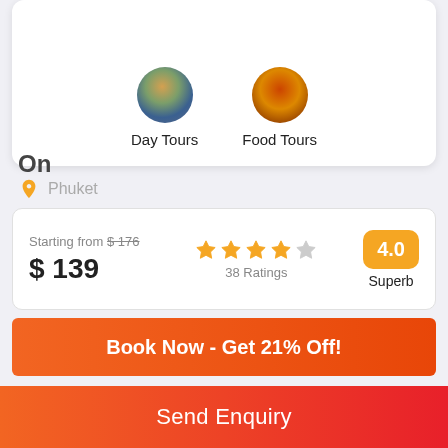[Figure (illustration): Two circular category icons: Day Tours and Food Tours]
Day Tours
Food Tours
On
Phuket
Starting from $176
$ 139
38 Ratings
4.0
Superb
Book Now - Get 21% Off!
00
01
Send Enquiry